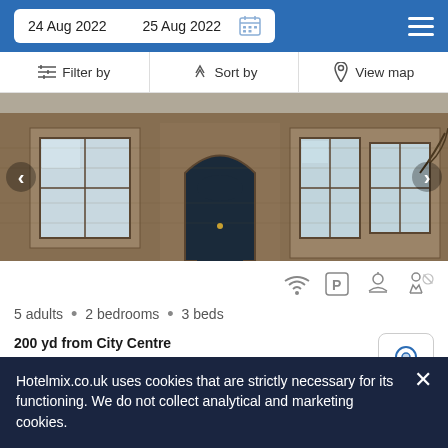24 Aug 2022   25 Aug 2022
Filter by   Sort by   View map
[Figure (photo): Exterior of a Victorian stone terraced house with bay windows, arched doorway, and stone facade]
5 adults • 2 bedrooms • 3 beds
200 yd from City Centre
500 yd from Buxton Opera House
This is a 2-bedroom villa, set in proximity to Dukes Drive Viaduct.
Hotelmix.co.uk uses cookies that are strictly necessary for its functioning. We do not collect analytical and marketing cookies.